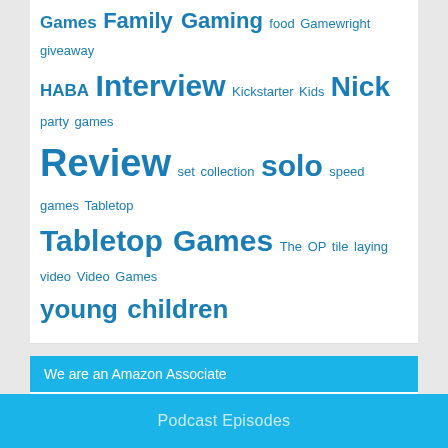Games Family Gaming food Gamewright giveaway HABA Interview Kickstarter Kids Nick party games Review set collection solo speed games Tabletop Tabletop Games The OP tile laying video Video Games young children
We are an Amazon Associate
Podcasts, reviews, and gift guides may contain links to purchase products on Amazon.com. As an Amazon Associate, The Family Gamers earn a small amount from qualifying purchases.
Shop Now
Podcast Episodes